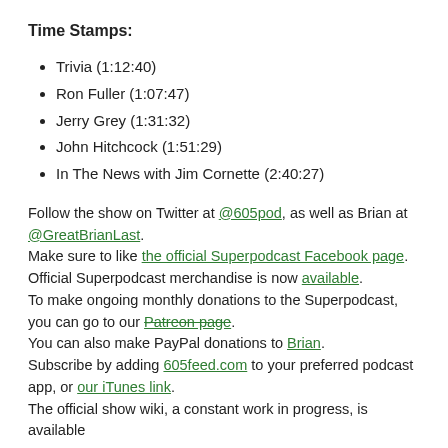Time Stamps:
Trivia (1:12:40)
Ron Fuller (1:07:47)
Jerry Grey (1:31:32)
John Hitchcock (1:51:29)
In The News with Jim Cornette (2:40:27)
Follow the show on Twitter at @605pod, as well as Brian at @GreatBrianLast. Make sure to like the official Superpodcast Facebook page. Official Superpodcast merchandise is now available. To make ongoing monthly donations to the Superpodcast, you can go to our Patreon page. You can also make PayPal donations to Brian. Subscribe by adding 605feed.com to your preferred podcast app, or our iTunes link. The official show wiki, a constant work in progress, is available